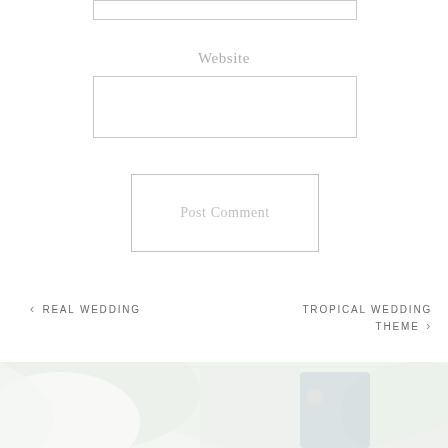[Figure (other): Partial input field at top of page (cut off)]
Website
[Figure (other): Website text input field with light gray border]
[Figure (other): Post Comment button with light gray border and text]
« REAL WEDDING
TROPICAL WEDDING THEME »
[Figure (photo): Faded/light-toned wedding photo showing a bride and groom outdoors with greenery in background]